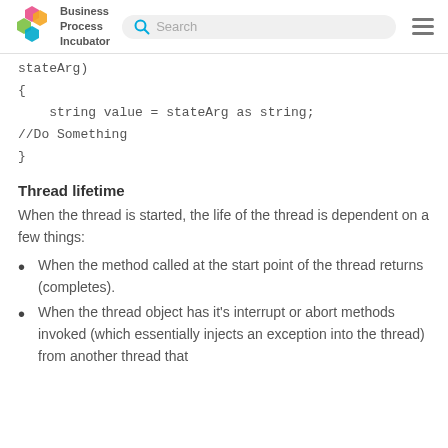Business Process Incubator | Search
stateArg)
{
    string value = stateArg as string;
//Do Something
}
Thread lifetime
When the thread is started, the life of the thread is dependent on a few things:
When the method called at the start point of the thread returns (completes).
When the thread object has it's interrupt or abort methods invoked (which essentially injects an exception into the thread) from another thread that